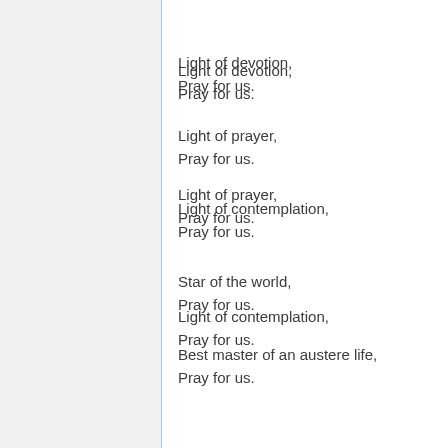Light of devotion,
Pray for us.
Light of prayer,
Pray for us.
Light of contemplation,
Pray for us.
Star of the world,
Pray for us.
Best master of an austere life,
Pray for us.